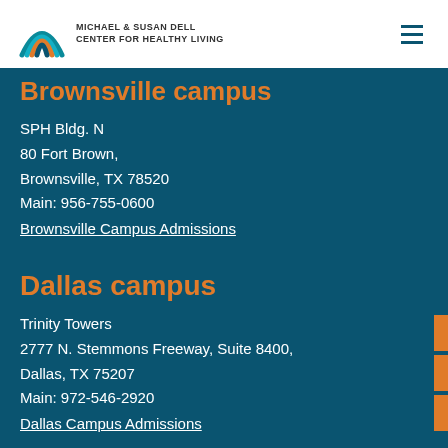Michael & Susan Dell Center for Healthy Living
Brownsville campus
SPH Bldg. N
80 Fort Brown,
Brownsville, TX 78520
Main: 956-755-0600
Brownsville Campus Admissions
Dallas campus
Trinity Towers
2777 N. Stemmons Freeway, Suite 8400,
Dallas, TX 75207
Main: 972-546-2920
Dallas Campus Admissions
El Paso campus
Medical Center of the Americas Foundation
5130 Gateway Boulevard East MCA 110,
El Paso, TX 79905
Main: 915-975-8520
El Paso Campus Admissions